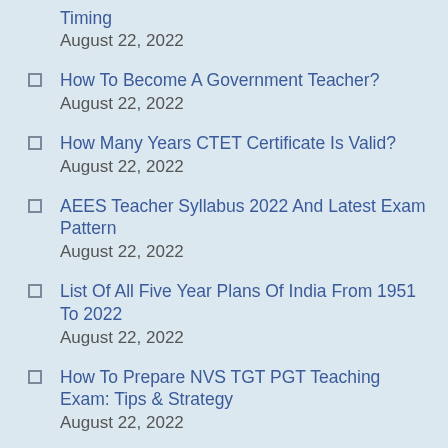Timing
August 22, 2022
How To Become A Government Teacher?
August 22, 2022
How Many Years CTET Certificate Is Valid?
August 22, 2022
AEES Teacher Syllabus 2022 And Latest Exam Pattern
August 22, 2022
List Of All Five Year Plans Of India From 1951 To 2022
August 22, 2022
How To Prepare NVS TGT PGT Teaching Exam: Tips & Strategy
August 22, 2022
CSIR UGC NET Previous Year Paper –